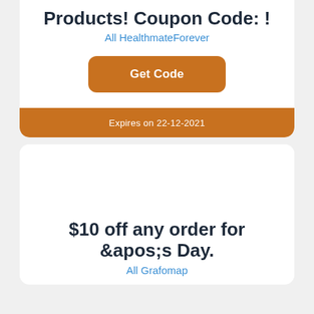Products! Coupon Code: !
All HealthmateForever
[Figure (other): Orange 'Get Code' button]
Expires on 22-12-2021
$10 off any order for &apos;s Day.
All Grafomap